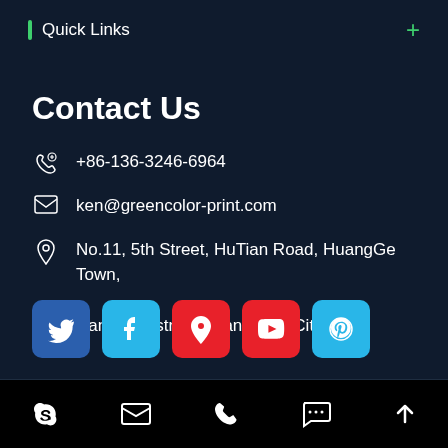Quick Links
Contact Us
+86-136-3246-6964
ken@greencolor-print.com
No.11, 5th Street, HuTian Road, HuangGe Town, Nansha District, Guangzhou City
[Figure (other): Social media icon buttons: Twitter (blue), Facebook (cyan), Maps (red), YouTube (red), Pinterest (cyan)]
Footer bar with Skype, Email, Phone, Chat, and Up arrow icons